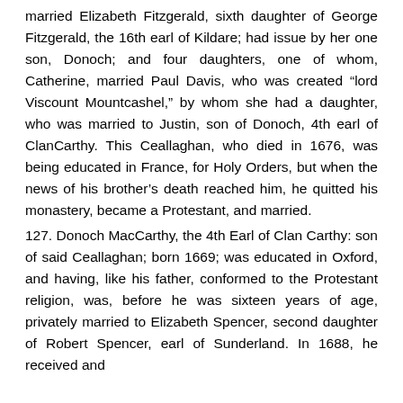married Elizabeth Fitzgerald, sixth daughter of George Fitzgerald, the 16th earl of Kildare; had issue by her one son, Donoch; and four daughters, one of whom, Catherine, married Paul Davis, who was created “lord Viscount Mountcashel,” by whom she had a daughter, who was married to Justin, son of Donoch, 4th earl of ClanCarthy. This Ceallaghan, who died in 1676, was being educated in France, for Holy Orders, but when the news of his brother’s death reached him, he quitted his monastery, became a Protestant, and married.
127. Donoch MacCarthy, the 4th Earl of Clan Carthy: son of said Ceallaghan; born 1669; was educated in Oxford, and having, like his father, conformed to the Protestant religion, was, before he was sixteen years of age, privately married to Elizabeth Spencer, second daughter of Robert Spencer, earl of Sunderland. In 1688, he received and